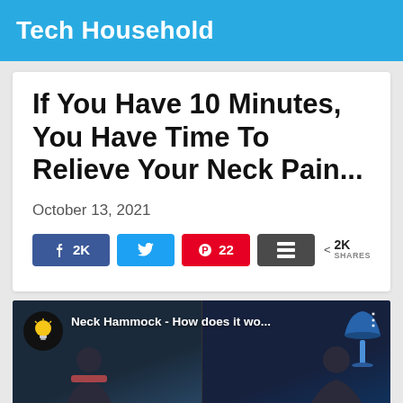Tech Household
If You Have 10 Minutes, You Have Time To Relieve Your Neck Pain...
October 13, 2021
[Figure (screenshot): Social share buttons row: Facebook (2K), Twitter, Pinterest (22), Buffer stack icon, and share count showing < 2K SHARES]
[Figure (screenshot): Video thumbnail showing 'Neck Hammock - How does it wo...' with bulb icon on left, two panels showing person silhouettes, lamp in right panel]